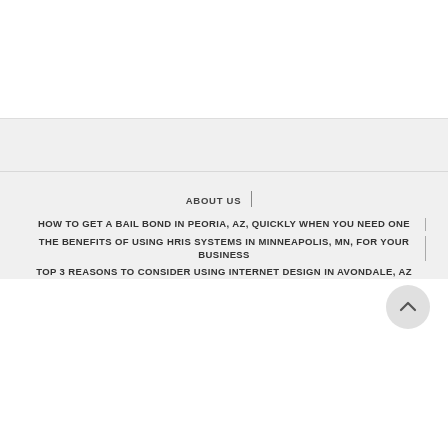ABOUT US
HOW TO GET A BAIL BOND IN PEORIA, AZ, QUICKLY WHEN YOU NEED ONE
THE BENEFITS OF USING HRIS SYSTEMS IN MINNEAPOLIS, MN, FOR YOUR BUSINESS
TOP 3 REASONS TO CONSIDER USING INTERNET DESIGN IN AVONDALE, AZ